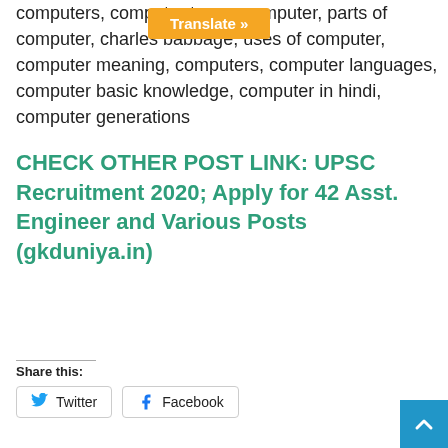computers, computer types, computer, parts of computer, charles babbage, uses of computer, computer meaning, computers, computer languages, computer basic knowledge, computer in hindi, computer generations
CHECK OTHER POST LINK: UPSC Recruitment 2020; Apply for 42 Asst. Engineer and Various Posts (gkduniya.in)
Share this:
Twitter  Facebook